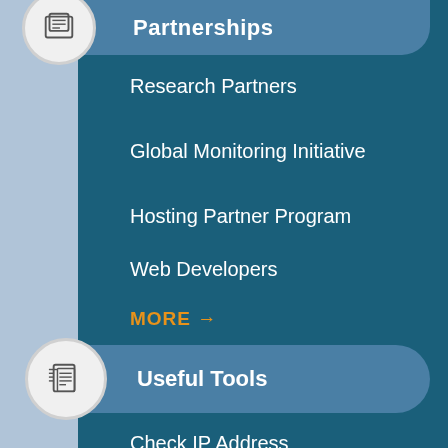Partnerships
Research Partners
Global Monitoring Initiative
Hosting Partner Program
Web Developers
MORE →
Useful Tools
Check IP Address
Website Checker